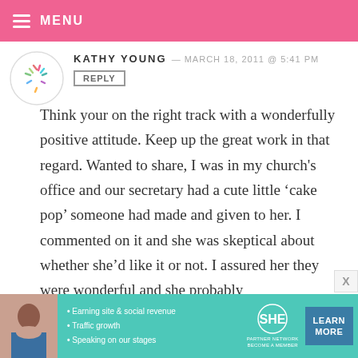MENU
KATHY YOUNG — MARCH 18, 2011 @ 5:41 PM
REPLY
Think your on the right track with a wonderfully positive attitude. Keep up the great work in that regard. Wanted to share, I was in my church's office and our secretary had a cute little 'cake pop' someone had made and given to her. I commented on it and she was skeptical about whether she'd like it or not. I assured her they were wonderful and she probably
[Figure (logo): SHE Partner Network advertisement banner with photo of woman, bullet points: Earning site & social revenue, Traffic growth, Speaking on our stages. Learn More button.]